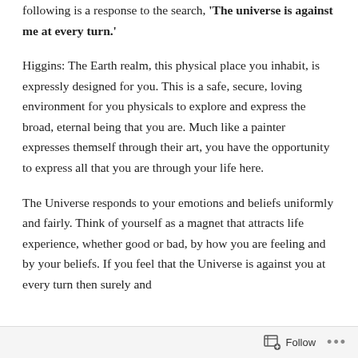following is a response to the search, 'The universe is against me at every turn.'
Higgins: The Earth realm, this physical place you inhabit, is expressly designed for you. This is a safe, secure, loving environment for you physicals to explore and express the broad, eternal being that you are. Much like a painter expresses themself through their art, you have the opportunity to express all that you are through your life here.
The Universe responds to your emotions and beliefs uniformly and fairly. Think of yourself as a magnet that attracts life experience, whether good or bad, by how you are feeling and by your beliefs. If you feel that the Universe is against you at every turn then surely and
Follow